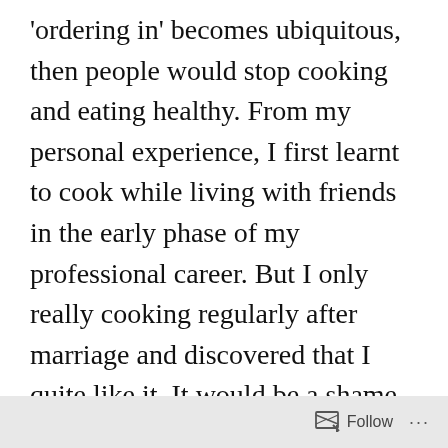'ordering in' becomes ubiquitous, then people would stop cooking and eating healthy. From my personal experience, I first learnt to cook while living with friends in the early phase of my professional career. But I only really cooking regularly after marriage and discovered that I quite like it. It would be a shame if less and less people discover the joys of cooking and rely on food deliveries most of the times.
The second issue is with sustainability. Again, there can be no dispute that ordering in is leading to a significant increase in the use of
Follow ···